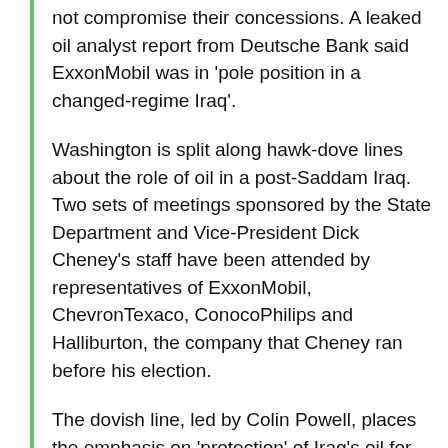not compromise their concessions. A leaked oil analyst report from Deutsche Bank said ExxonMobil was in 'pole position in a changed-regime Iraq'.
Washington is split along hawk-dove lines about the role of oil in a post-Saddam Iraq. Two sets of meetings sponsored by the State Department and Vice-President Dick Cheney's staff have been attended by representatives of ExxonMobil, ChevronTexaco, ConocoPhilips and Halliburton, the company that Cheney ran before his election.
The dovish line, led by Colin Powell, places the emphasis on 'protection' of Iraq's oil for Iraq's people. His State Department has pointed to a precedent in the US interpretation of international law set in the 1970s. Then, when Israel occupied Egypt's Sinai desert, the US did not support